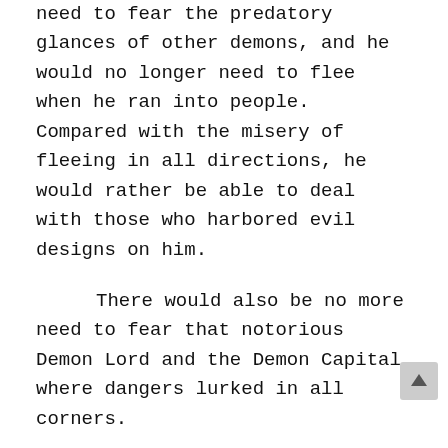need to fear the predatory glances of other demons, and he would no longer need to flee when he ran into people. Compared with the misery of fleeing in all directions, he would rather be able to deal with those who harbored evil designs on him.
There would also be no more need to fear that notorious Demon Lord and the Demon Capital where dangers lurked in all corners.
Being powerful could really solve many of his problems. So even if Song Ci knew this was just his wishful thinking, he still hoped in his heart that his dream would come true someday.
As Song Ci thought about it, he closed his eyes and fell into a deep sleep.